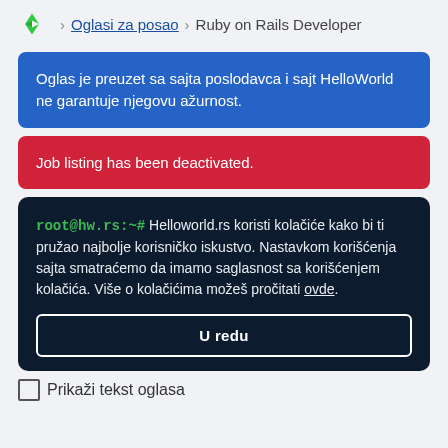Oglasi za posao > Ruby on Rails Developer
Oglas je preuzet sa sajta poslodavca i sajt HelloWorld ne garantuje njegovu ažurnost.
Job listing has been deactivated.
root@hw.rs:~# Helloworld.rs koristi kolačiće kako bi ti pružao najbolje korisničko iskustvo. Nastavkom korišćenja sajta smatraćemo da imamo saglasnost sa korišćenjem kolačića. Više o kolačićima možeš pročitati ovde.
U redu
Prikaži tekst oglasa